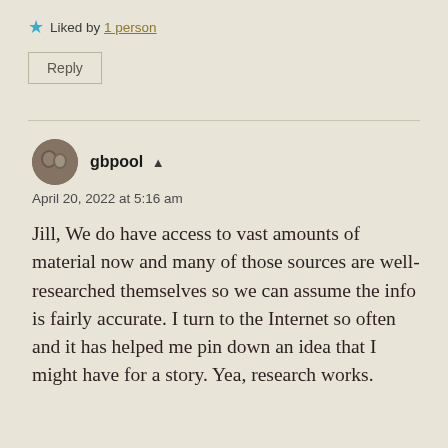★ Liked by 1 person
Reply
gbpool ▲
April 20, 2022 at 5:16 am
Jill, We do have access to vast amounts of material now and many of those sources are well-researched themselves so we can assume the info is fairly accurate. I turn to the Internet so often and it has helped me pin down an idea that I might have for a story. Yea, research works.